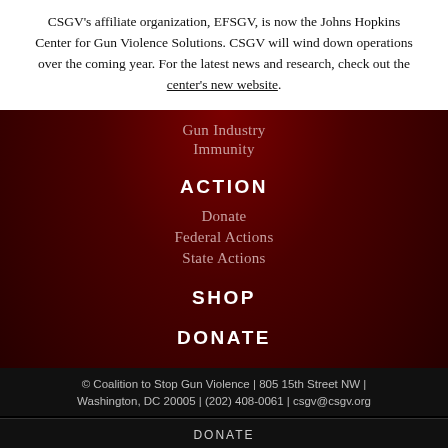CSGV's affiliate organization, EFSGV, is now the Johns Hopkins Center for Gun Violence Solutions. CSGV will wind down operations over the coming year. For the latest news and research, check out the center's new website.
Gun Industry Immunity
ACTION
Donate
Federal Actions
State Actions
SHOP
DONATE
© Coalition to Stop Gun Violence | 805 15th Street NW | Washington, DC 20005 | (202) 408-0061 | csgv@csgv.org
DONATE